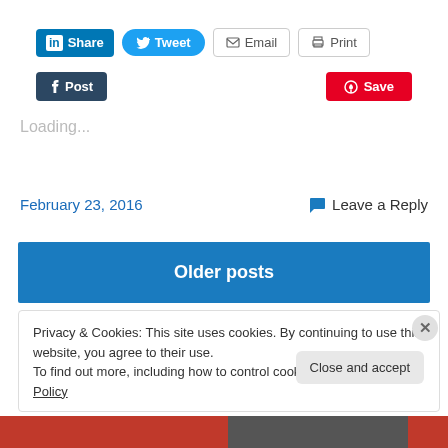[Figure (screenshot): Social sharing buttons: LinkedIn Share, Twitter Tweet, Email, Print, Tumblr Post, Pinterest Save]
Loading...
February 23, 2016    Leave a Reply
Older posts
Privacy & Cookies: This site uses cookies. By continuing to use this website, you agree to their use.
To find out more, including how to control cookies, see here: Cookie Policy
Close and accept